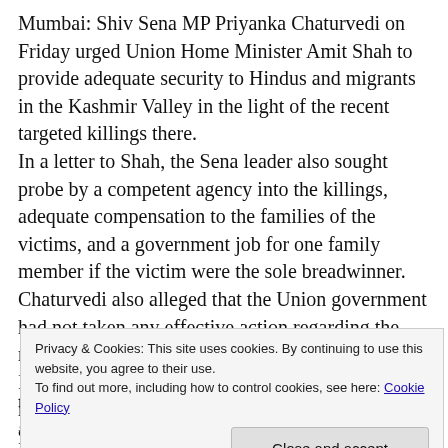Mumbai: Shiv Sena MP Priyanka Chaturvedi on Friday urged Union Home Minister Amit Shah to provide adequate security to Hindus and migrants in the Kashmir Valley in the light of the recent targeted killings there. In a letter to Shah, the Sena leader also sought probe by a competent agency into the killings, adequate compensation to the families of the victims, and a government job for one family member if the victim were the sole breadwinner. Chaturvedi also alleged that the Union government had not taken any effective action regarding the recent killings. In view of the current situation in Kashmir, I request you to provide adequate security to the Hindu community in Kashmir. Considering the gravity of the situation, I also
Privacy & Cookies: This site uses cookies. By continuing to use this website, you agree to their use.
To find out more, including how to control cookies, see here: Cookie Policy
Close and accept
targeted killing in the Kashmir Valley since May 1, and the